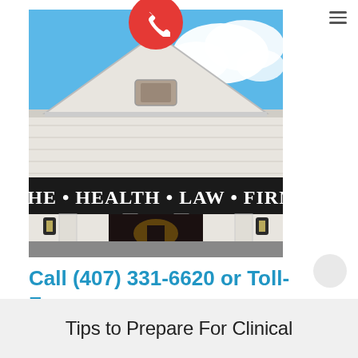[Figure (photo): Exterior photograph of The Health Law Firm building — a white colonial-style building with a gabled roof, columns, lantern lights flanking the entrance, and a sign reading 'THE • HEALTH • LAW • FIRM'. A red phone call floating action button overlays the top-center of the photo.]
Call (407) 331-6620 or Toll-Free (888) 331-6620
Tips to Prepare For Clinical